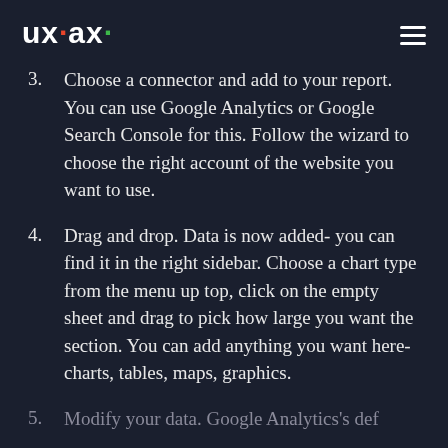UXAX
3. Choose a connector and add to your report. You can use Google Analytics or Google Search Console for this. Follow the wizard to choose the right account of the website you want to use.
4. Drag and drop. Data is now added- you can find it in the right sidebar. Choose a chart type from the menu up top, click on the empty sheet and drag to pick how large you want the section. You can add anything you want here- charts, tables, maps, graphics.
5. Modify your data...